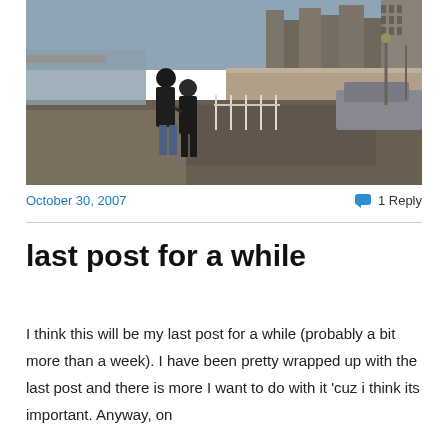[Figure (photo): Two people walking hand in hand along a riverside promenade with buildings and a road in the background, viewed from behind.]
October 30, 2007
1 Reply
last post for a while
I think this will be my last post for a while (probably a bit more than a week). I have been pretty wrapped up with the last post and there is more I want to do with it 'cuz i think its important. Anyway, on